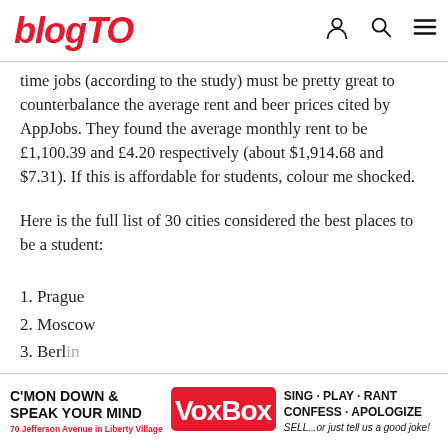blogTO
time jobs (according to the study) must be pretty great to counterbalance the average rent and beer prices cited by AppJobs. They found the average monthly rent to be £1,100.39 and £4.20 respectively (about $1,914.68 and $7.31). If this is affordable for students, colour me shocked.
Here is the full list of 30 cities considered the best places to be a student:
1. Prague
2. Moscow
3. Berlin
4. Beijing
[Figure (other): VoxBox advertisement banner: C'MON DOWN & SPEAK YOUR MIND, VoxBox logo, SING·PLAY·RANT CONFESS·APOLOGIZE SELL...or just tell us a good joke!, 70 Jefferson Avenue in Liberty Village]